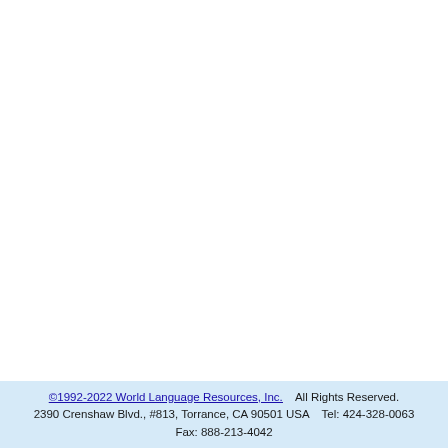©1992-2022 World Language Resources, Inc.    All Rights Reserved.
2390 Crenshaw Blvd., #813, Torrance, CA 90501 USA    Tel: 424-328-0063
Fax: 888-213-4042